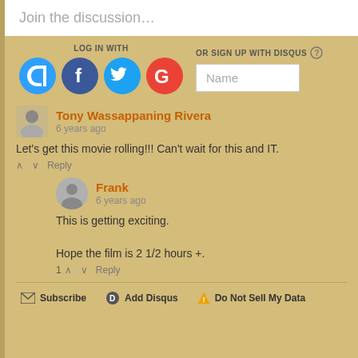Join the discussion...
LOG IN WITH
OR SIGN UP WITH DISQUS
Name
Tony Wassappaning Rivera
6 years ago
Let's get this movie rolling!!! Can't wait for this and IT.
Frank
6 years ago
This is getting exciting.

Hope the film is 2 1/2 hours +.
Subscribe   Add Disqus   Do Not Sell My Data